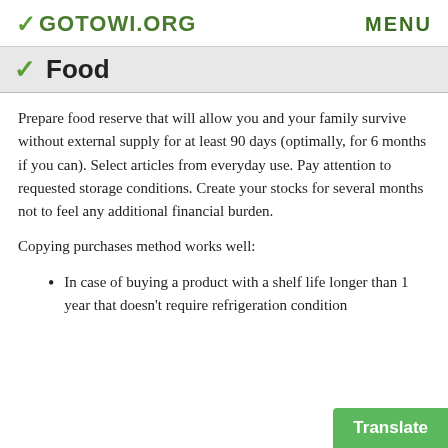✓GOTOWI.ORG   MENU
Food
Prepare food reserve that will allow you and your family survive without external supply for at least 90 days (optimally, for 6 months if you can). Select articles from everyday use. Pay attention to requested storage conditions. Create your stocks for several months not to feel any additional financial burden.
Copying purchases method works well:
In case of buying a product with a shelf life longer than 1 year that doesn't require refrigeration condition